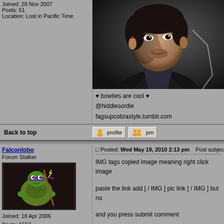Joined: 28 Nov 2007
Posts: 51
Location: Lost in Pacific Time
[Figure (photo): Close-up portrait of a dark-haired man in a suit, looking forward, dark cinematic background]
♥ bowties are cool ♥
@hiddlesordie
fagsupcobrastyle.tumblr.com
Back to top
[Figure (other): Profile button with user icon]
[Figure (other): PM button with user icons]
Falconlobo
Forum Stalker
[Figure (illustration): Cartoon turtle ninja (Donatello from TMNT) with purple mask, holding a staff]
Joined: 18 Apr 2006
Posts: 1567
Location: Home
Posted: Wed May 19, 2010 2:13 pm    Post subject:
IMG tags copied image meaning right click image
paste the link add [ / IMG ] pic link [ / IMG ] but no
and you press submit comment